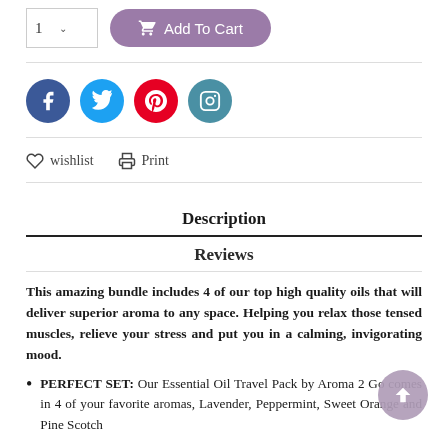[Figure (screenshot): Add to Cart button with quantity selector showing '1' and a purple rounded button labeled 'Add To Cart' with shopping cart icon]
[Figure (infographic): Row of four social media icon buttons: Facebook (blue), Twitter (light blue), Pinterest (red), Instagram (teal)]
♡ wishlist   🖨 Print
Description
Reviews
This amazing bundle includes 4 of our top high quality oils that will deliver superior aroma to any space. Helping you relax those tensed muscles, relieve your stress and put you in a calming, invigorating mood.
PERFECT SET: Our Essential Oil Travel Pack by Aroma 2 Go comes in 4 of your favorite aromas, Lavender, Peppermint, Sweet Orange and Pine Scotch